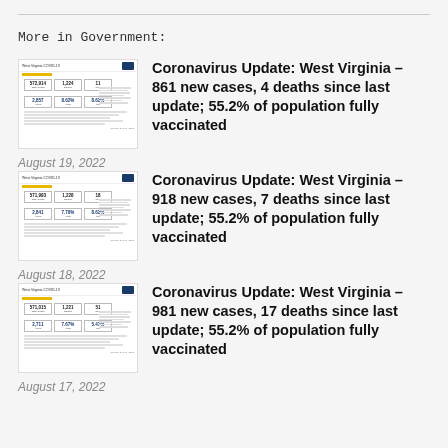More in Government:
[Figure (screenshot): Thumbnail screenshot of West Virginia COVID-19 dashboard report showing statistics: 572,914 total cases, 1,224 deaths, and vaccination percentages]
Coronavirus Update: West Virginia – 861 new cases, 4 deaths since last update; 55.2% of population fully vaccinated
August 19, 2022
[Figure (screenshot): Thumbnail screenshot of West Virginia COVID-19 dashboard report showing statistics: 571,993 total cases, 1,228 deaths, and vaccination percentages]
Coronavirus Update: West Virginia – 918 new cases, 7 deaths since last update; 55.2% of population fully vaccinated
August 18, 2022
[Figure (screenshot): Thumbnail screenshot of West Virginia COVID-19 dashboard report showing statistics: 571,015 total cases, 1,221 deaths, and vaccination percentages]
Coronavirus Update: West Virginia – 981 new cases, 17 deaths since last update; 55.2% of population fully vaccinated
August 17, 2022